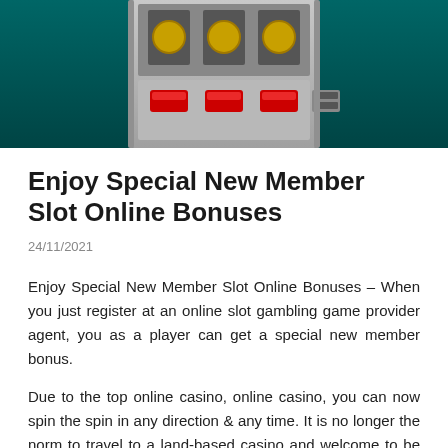[Figure (photo): Top portion of a slot machine with red buttons visible against a teal/dark background]
Enjoy Special New Member Slot Online Bonuses
24/11/2021
Enjoy Special New Member Slot Online Bonuses – When you just register at an online slot gambling game provider agent, you as a player can get a special new member bonus.
Due to the top online casino, online casino, you can now spin the spin in any direction & any time. It is no longer the norm to travel to a land-based casino and welcome to be the next to spin the reels. Online slots